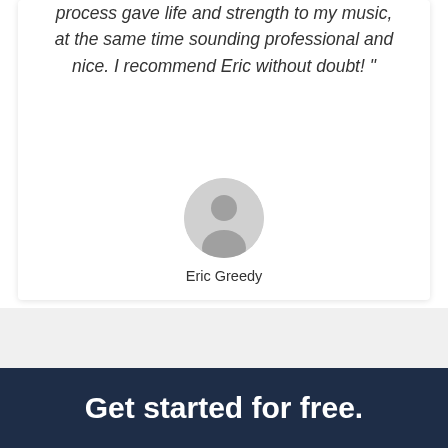process gave life and strength to my music, at the same time sounding professional and nice. I recommend Eric without doubt! "
[Figure (illustration): Circular avatar placeholder showing a generic grey silhouette of a person on a light grey background]
Eric Greedy
Get started for free.